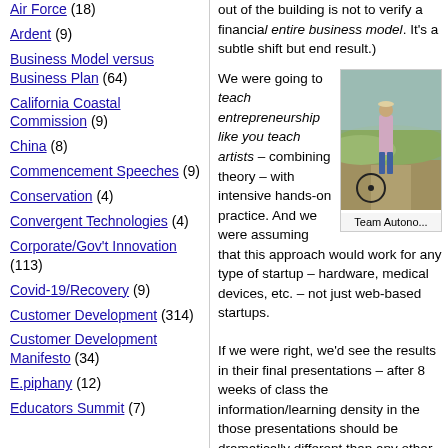Air Force (18)
Ardent (9)
Business Model versus Business Plan (64)
California Coastal Commission (9)
China (8)
Commencement Speeches (9)
Conservation (4)
Convergent Technologies (4)
Corporate/Gov't Innovation (113)
Covid-19/Recovery (9)
Customer Development (314)
Customer Development Manifesto (34)
E.piphany (12)
Educators Summit (7)
out of the building is not to verify a financial entire business model. It's a subtle shift but end result.)
We were going to teach entrepreneurship like you teach artists – combining theory – with intensive hands-on practice. And we were assuming that this approach would work for any type of startup – hardware, medical devices, etc. – not just web-based startups.
[Figure (photo): Person standing outdoors near a bicycle on a dirt road, green hills in background. Caption: Team Autono...]
If we were right, we'd see the results in their final presentations – after 8 weeks of class the information/learning density in the those presentations should be dramatically different than any other teachin...
But we could be wrong.
While I had managed to persuade two grea...